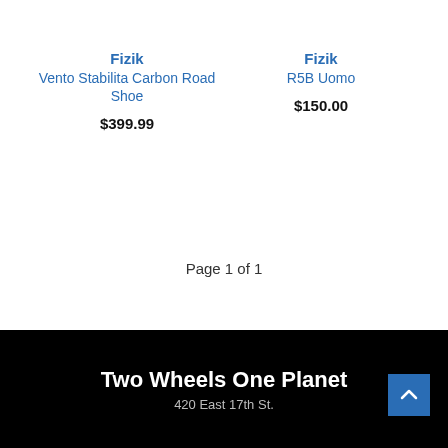Fizik
Vento Stabilita Carbon Road Shoe
$399.99
Fizik
R5B Uomo
$150.00
Page 1 of 1
Two Wheels One Planet
420 East 17th St.